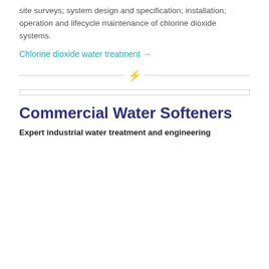site surveys; system design and specification; installation; operation and lifecycle maintenance of chlorine dioxide systems.
Chlorine dioxide water treatment →
[Figure (photo): Close-up photograph of salt crystals or mineral deposits in sepia/monochrome tones used for commercial water softeners]
Commercial Water Softeners
Expert industrial water treatment and engineering